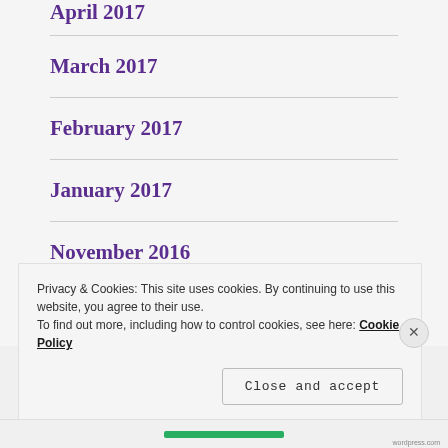April 2017
March 2017
February 2017
January 2017
November 2016
October 2016
Privacy & Cookies: This site uses cookies. By continuing to use this website, you agree to their use.
To find out more, including how to control cookies, see here: Cookie Policy
Close and accept